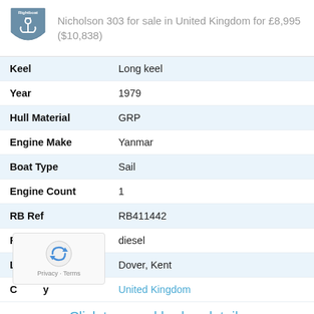Nicholson 303 for sale in United Kingdom for £8,995 ($10,838)
| Field | Value |
| --- | --- |
| Keel | Long keel |
| Year | 1979 |
| Hull Material | GRP |
| Engine Make | Yanmar |
| Boat Type | Sail |
| Engine Count | 1 |
| RB Ref | RB411442 |
| Fuel | diesel |
| Location | Dover, Kent |
| Country | United Kingdom |
Click to reveal broker details